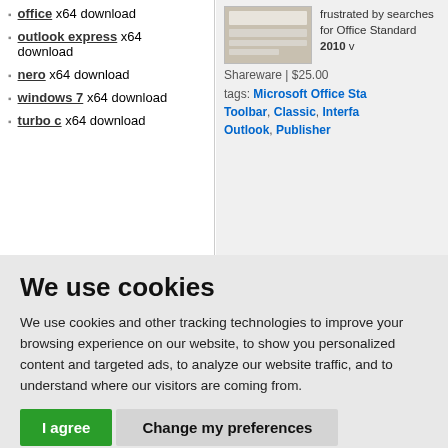office x64 download
outlook express x64 download
nero x64 download
windows 7 x64 download
turbo c x64 download
frustrated by searches for Office Standard 2010 v
Shareware | $25.00
tags: Microsoft Office Sta, Toolbar, Classic, Interfa, Outlook, Publisher
We use cookies
We use cookies and other tracking technologies to improve your browsing experience on our website, to show you personalized content and targeted ads, to analyze our website traffic, and to understand where our visitors are coming from.
I agree
Change my preferences